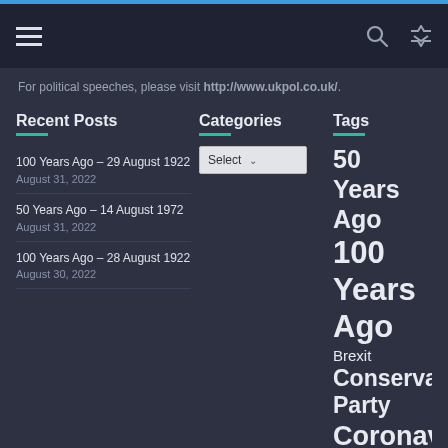Navigation bar with hamburger menu, search icon, and shuffle icon
For political speeches, please visit http://www.ukpol.co.uk/.
Recent Posts
100 Years Ago – 29 August 1922
August 31, 2022
50 Years Ago – 14 August 1972
August 31, 2022
100 Years Ago – 28 August 1922
August 30, 2022
Categories
Tags
50 Years Ago 100 Years Ago Brexit Conservative Party Coronavirus Criminal Justice System Culture Defence DUP